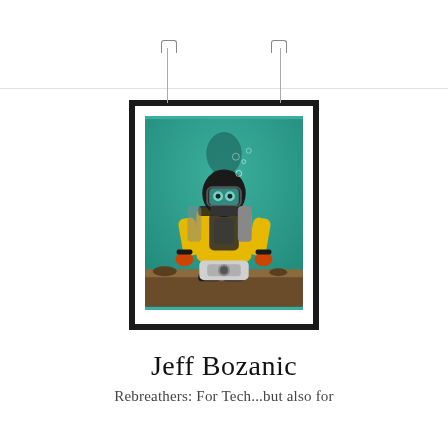[Figure (photo): A framed photograph hanging on a wall, showing an underwater scuba diver wearing a yellow drysuit and black diving mask and rebreather equipment, crouching near the sea floor with teal/turquoise water in the background. The photo is in a black frame with a white mat.]
Jeff Bozanic
Rebreathers: For Tech...but also for